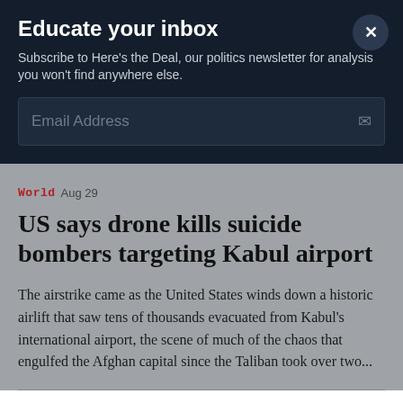Educate your inbox
Subscribe to Here's the Deal, our politics newsletter for analysis you won't find anywhere else.
Email Address
World  Aug  29
US says drone kills suicide bombers targeting Kabul airport
The airstrike came as the United States winds down a historic airlift that saw tens of thousands evacuated from Kabul's international airport, the scene of much of the chaos that engulfed the Afghan capital since the Taliban took over two...